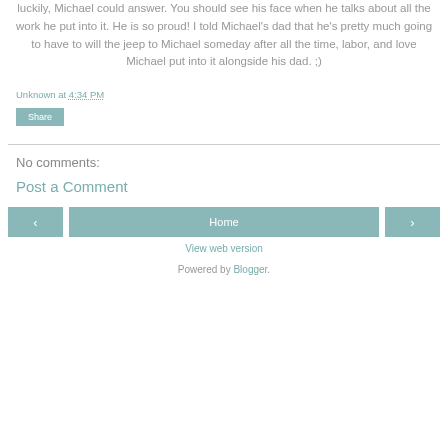luckily, Michael could answer. You should see his face when he talks about all the work he put into it. He is so proud! I told Michael's dad that he's pretty much going to have to will the jeep to Michael someday after all the time, labor, and love Michael put into it alongside his dad. ;)
Unknown at 4:34 PM
Share
No comments:
Post a Comment
‹
Home
›
View web version
Powered by Blogger.